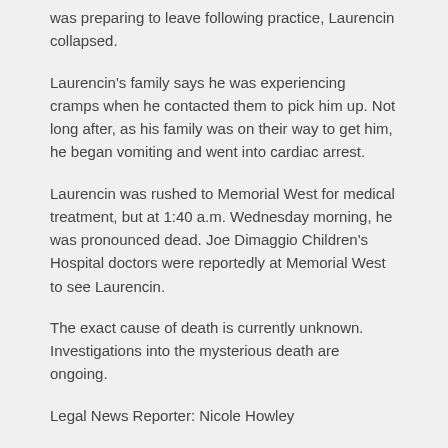was preparing to leave following practice, Laurencin collapsed.
Laurencin's family says he was experiencing cramps when he contacted them to pick him up. Not long after, as his family was on their way to get him, he began vomiting and went into cardiac arrest.
Laurencin was rushed to Memorial West for medical treatment, but at 1:40 a.m. Wednesday morning, he was pronounced dead. Joe Dimaggio Children's Hospital doctors were reportedly at Memorial West to see Laurencin.
The exact cause of death is currently unknown. Investigations into the mysterious death are ongoing.
Legal News Reporter: Nicole Howley